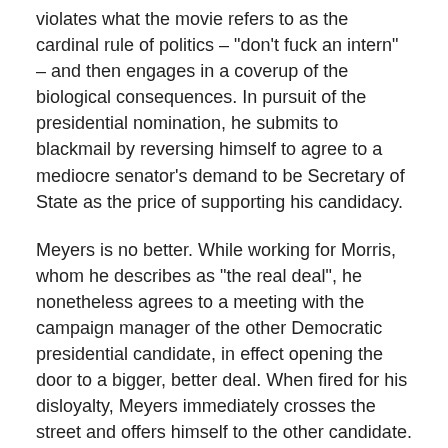violates what the movie refers to as the cardinal rule of politics – "don't fuck an intern" – and then engages in a coverup of the biological consequences. In pursuit of the presidential nomination, he submits to blackmail by reversing himself to agree to a mediocre senator's demand to be Secretary of State as the price of supporting his candidacy.
Meyers is no better. While working for Morris, whom he describes as "the real deal", he nonetheless agrees to a meeting with the campaign manager of the other Democratic presidential candidate, in effect opening the door to a bigger, better deal. When fired for his disloyalty, Meyers immediately crosses the street and offers himself to the other candidate. When he's not accepted, he contacts Morris, using his possession of evidence regarding Morris's dalliance to blackmail Morris into appointing him as campaign manager.